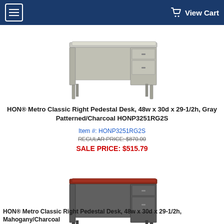☰  View Cart
[Figure (illustration): HON Metro Classic Right Pedestal Desk in gray/charcoal color, front-angle view showing right-side pedestal with drawers]
HON® Metro Classic Right Pedestal Desk, 48w x 30d x 29-1/2h, Gray Patterned/Charcoal HONP3251RG2S
Item #: HONP3251RG2S
REGULAR PRICE: $870.00
SALE PRICE: $515.79
[Figure (illustration): HON Metro Classic Right Pedestal Desk in mahogany/charcoal color, front-angle view showing right-side pedestal with drawers]
HON® Metro Classic Right Pedestal Desk, 48w x 30d x 29-1/2h, Mahogany/Charcoal